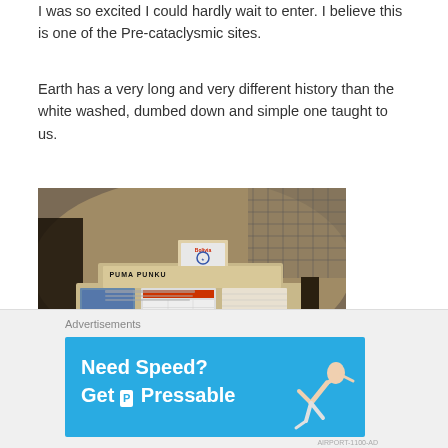I was so excited I could hardly wait to enter. I believe this is one of the Pre-cataclysmic sites.
Earth has a very long and very different history than the white washed, dumbed down and simple one taught to us.
[Figure (photo): A stone information plaque/sign for Puma Punku archaeological site in Bolivia, with a Bolivia logo on top, set against a dry grassy hillside with fencing in the background.]
Advertisements
Need Speed? Get P Pressable